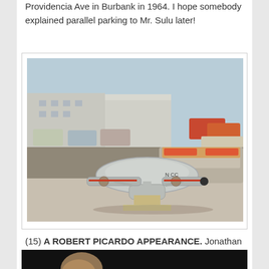Providencia Ave in Burbank in 1964. I hope somebody explained parallel parking to Mr. Sulu later!
[Figure (photo): A physical model of the Star Trek USS Enterprise spacecraft sitting on a street in Burbank, with 1960s cars parked in the background.]
(15) A ROBERT PICARDO APPEARANCE. Jonathan Cowie reports that at the last Novacon they screened a short film based on a story by Chris Priest – here is a trailer for it: The Stooge.
[Figure (photo): Bottom portion of a dark video still, partially visible at bottom of page.]